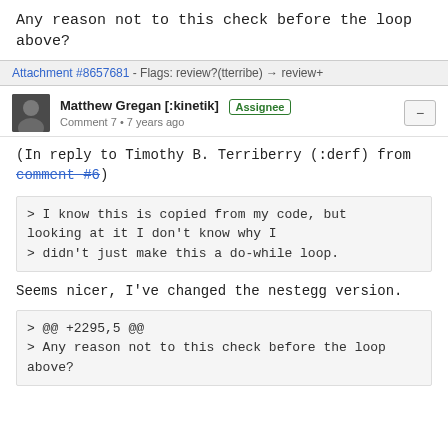Any reason not to this check before the loop above?
Attachment #8657681 - Flags: review?(tterribe) → review+
Matthew Gregan [:kinetik] Assignee
Comment 7 • 7 years ago
(In reply to Timothy B. Terriberry (:derf) from comment #6)
> I know this is copied from my code, but looking at it I don't know why I
> didn't just make this a do-while loop.
Seems nicer, I've changed the nestegg version.
> @@ +2295,5 @@
> Any reason not to this check before the loop above?